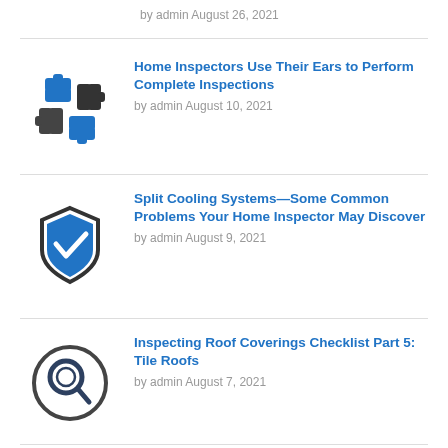by admin August 26, 2021
[Figure (illustration): Blue and dark icon of multiple hands forming a circle/team gesture]
Home Inspectors Use Their Ears to Perform Complete Inspections
by admin August 10, 2021
[Figure (illustration): Blue shield with checkmark icon]
Split Cooling Systems—Some Common Problems Your Home Inspector May Discover
by admin August 9, 2021
[Figure (illustration): Circle with magnifying glass icon, dark outline style]
Inspecting Roof Coverings Checklist Part 5: Tile Roofs
by admin August 7, 2021